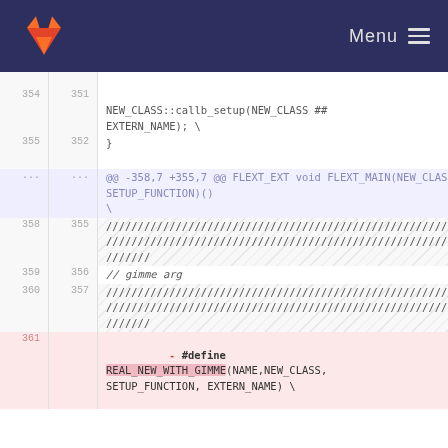Menu
354 351 NEW_CLASS::callb_setup(NEW_CLASS ## EXTERN_NAME); \
355 352 }
... ... @@ -358,7 +355,7 @@ FLEXT_EXT void FLEXT_MAIN(NEW_CLASS ## SETUP_FUNCTION)()
358 355 /////////////////////////////////////////////////////////////////////// // gimme arg
359 356 // gimme arg
360 357 ///////////////////////////////////////////////////////////////////////
361     - #define REAL_NEW_WITH_GIMME(NAME,NEW_CLASS, SETUP_FUNCTION, EXTERN_NAME) \